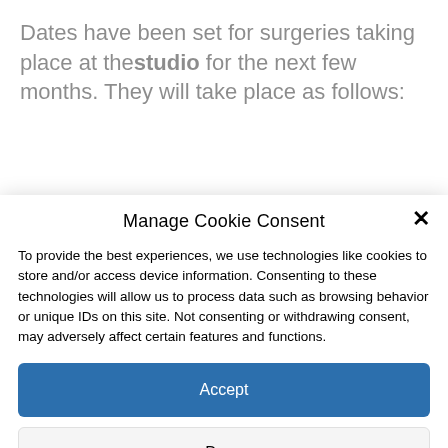Dates have been set for surgeries taking place at the studio for the next few months. They will take place as follows:
Manage Cookie Consent
To provide the best experiences, we use technologies like cookies to store and/or access device information. Consenting to these technologies will allow us to process data such as browsing behavior or unique IDs on this site. Not consenting or withdrawing consent, may adversely affect certain features and functions.
Accept
Deny
View preferences
Cookie Policy  Privacy Policy